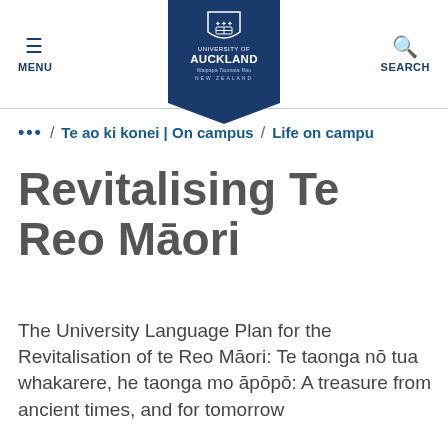MENU | University of Auckland | SEARCH
... / Te ao ki konei | On campus / Life on campu
Revitalising Te Reo Māori
The University Language Plan for the Revitalisation of te Reo Māori: Te taonga nō tua whakarere, he taonga mo āpōpō: A treasure from ancient times, and for tomorrow